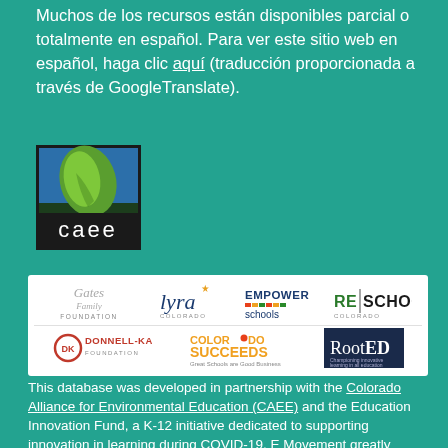Muchos de los recursos están disponibles parcial o totalmente en español. Para ver este sitio web en español, haga clic aquí (traducción proporcionada a través de GoogleTranslate).
[Figure (logo): CAEE (Colorado Alliance for Environmental Education) logo: green leaf on blue/dark background with 'caee' text in white below]
[Figure (logo): Sponsors banner with logos: Gates Family Foundation, lyra Colorado, EMPOWER schools, RE|SCHOOL Colorado (top row); Donnell-Kay Foundation, Colorado Succeeds (Great Schools are Good Business), RootED (bottom row)]
This database was developed in partnership with the Colorado Alliance for Environmental Education (CAEE) and the Education Innovation Fund, a K-12 initiative dedicated to supporting innovation in learning during COVID-19. E Movement greatly appreciates all of